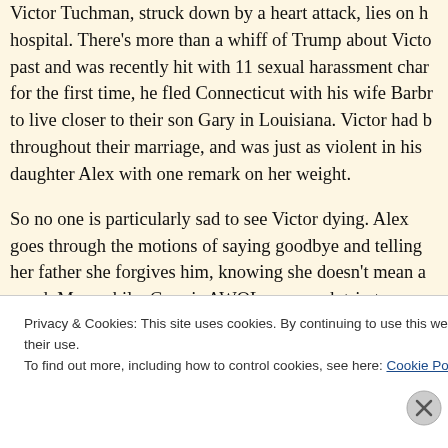Victor Tuchman, struck down by a heart attack, lies on his hospital. There's more than a whiff of Trump about Victor's past and was recently hit with 11 sexual harassment charges, for the first time, he fled Connecticut with his wife Barbara to live closer to their son Gary in Louisiana. Victor had been throughout their marriage, and was just as violent in his words, daughter Alex with one remark on her weight.
So no one is particularly sad to see Victor dying. Alex goes through the motions of saying goodbye and telling her father she forgives him, knowing she doesn't mean a word. Meanwhile, Gary is AWOL on a work trip to
Privacy & Cookies: This site uses cookies. By continuing to use this website, you agree to their use.
To find out more, including how to control cookies, see here: Cookie Policy
Close and accept